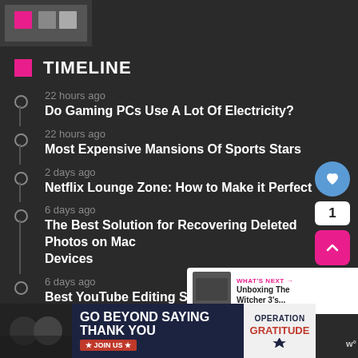[Figure (screenshot): Small thumbnail image in top left area]
TIMELINE
22 hours ago
Do Gaming PCs Use A Lot Of Electricity?
22 hours ago
Most Expensive Mansions Of Sports Stars
2 days ago
Netflix Lounge Zone: How to Make it Perfect
6 days ago
The Best Solution for Recovering Deleted Photos on Mac Devices
6 days ago
Best YouTube Editing Software for All Devices (Windows, Mac
[Figure (infographic): Go Beyond Saying Thank You - Operation Gratitude advertisement banner]
WHAT'S NEXT → Unboxing The Witcher 3's...